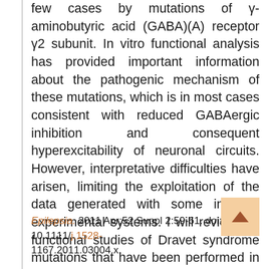few cases by mutations of γ-aminobutyric acid (GABA)(A) receptor γ2 subunit. In vitro functional analysis has provided important information about the pathogenic mechanism of these mutations, which is in most cases consistent with reduced GABAergic inhibition and consequent hyperexcitability of neuronal circuits. However, interpretative difficulties have arisen, limiting the exploitation of the data generated with some in vitro experimental systems. I will review the functional studies of Dravet syndrome mutations that have been performed in vitro, highlighting the interpretative difficulties and the possible use of these data in the clinical practice.
Epilepsia. 2011 Apr;52 Suppl 2:59-61. doi: 10.1111/j.1528-1167.2011.03004.x.